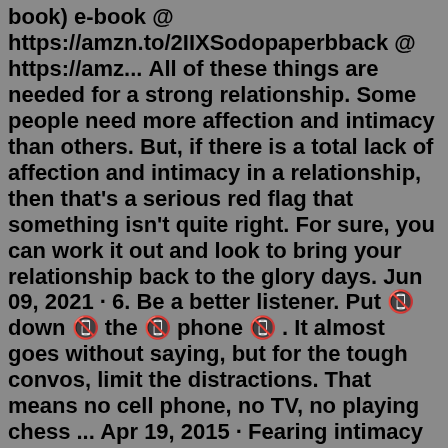book) e-book @ https://amzn.to/2IIXSodopaperbback @ https://amz... All of these things are needed for a strong relationship. Some people need more affection and intimacy than others. But, if there is a total lack of affection and intimacy in a relationship, then that's a serious red flag that something isn't quite right. For sure, you can work it out and look to bring your relationship back to the glory days. Jun 09, 2021 · 6. Be a better listener. Put 📵 down 📵 the 📵 phone 📵 . It almost goes without saying, but for the tough convos, limit the distractions. That means no cell phone, no TV, no playing chess ... Apr 19, 2015 · Fearing intimacy and avoiding closeness in relationships is the norm for about 17% of adults in Western cultures. As many readers understand, it can be crazy-making and even infuriating to feel ... How to show more vulnerability in your relationship? 1. Ease into it. Start by doing what you can, not by what you can't. It sounds simple, yet we all make the mistake of... 2. Understand why you need emotional walls. As children, we learn by observing. We might think we